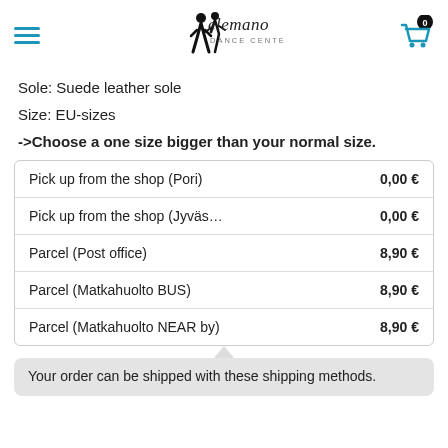Elemano Dance Center — navigation header with hamburger menu, logo, and cart icon
Sole: Suede leather sole
Size: EU-sizes
->Choose a one size bigger than your normal size.
| Shipping method | Price |
| --- | --- |
| Pick up from the shop (Pori) | 0,00 € |
| Pick up from the shop (Jyväs… | 0,00 € |
| Parcel (Post office) | 8,90 € |
| Parcel (Matkahuolto BUS) | 8,90 € |
| Parcel (Matkahuolto NEAR by) | 8,90 € |
Your order can be shipped with these shipping methods.